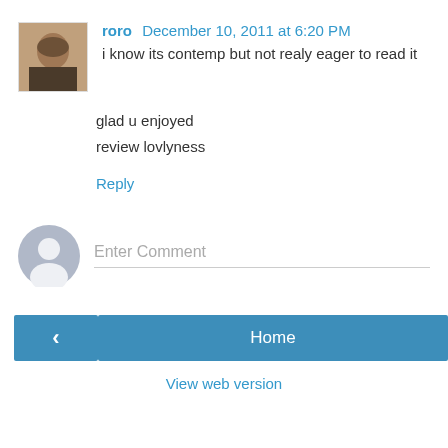[Figure (photo): Small avatar photo of user roro — a person's face]
roro December 10, 2011 at 6:20 PM
i know its contemp but not realy eager to read it
glad u enjoyed
review lovlyness
Reply
[Figure (illustration): Generic user avatar placeholder (grey silhouette)]
Enter Comment
‹
Home
›
View web version